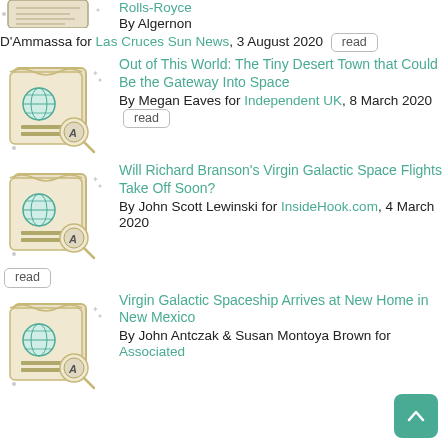By Algernon D'Ammassa for Las Cruces Sun News, 3 August 2020 [read]
[Figure (illustration): Newspaper icon with magnifying glass]
Out of This World: The Tiny Desert Town that Could Be the Gateway Into Space
By Megan Eaves for Independent UK, 8 March 2020 [read]
[Figure (illustration): Newspaper icon with magnifying glass]
Will Richard Branson's Virgin Galactic Space Flights Take Off Soon?
By John Scott Lewinski for InsideHook.com, 4 March 2020 [read]
[Figure (illustration): Newspaper icon with magnifying glass]
Virgin Galactic Spaceship Arrives at New Home in New Mexico
By John Antczak & Susan Montoya Brown for Associated